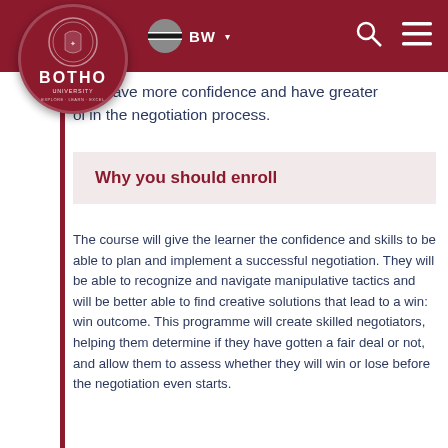Botho University — BW navigation header
red, have more confidence and have greater ol in the negotiation process.
Why you should enroll
The course will give the learner the confidence and skills to be able to plan and implement a successful negotiation. They will be able to recognize and navigate manipulative tactics and will be better able to find creative solutions that lead to a win: win outcome. This programme will create skilled negotiators, helping them determine if they have gotten a fair deal or not, and allow them to assess whether they will win or lose before the negotiation even starts.